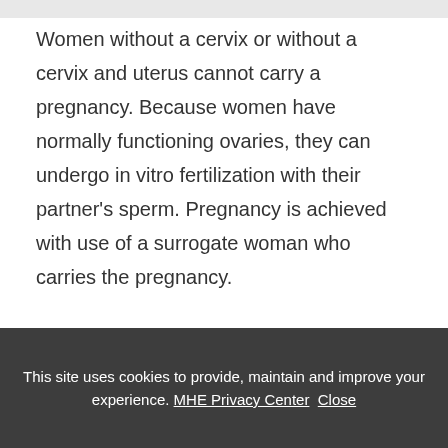Women without a cervix or without a cervix and uterus cannot carry a pregnancy. Because women have normally functioning ovaries, they can undergo in vitro fertilization with their partner's sperm. Pregnancy is achieved with use of a surrogate woman who carries the pregnancy.
Women with müllerian or cervical agenesis may have a shortened or absent vagina. Nonsurgical
This site uses cookies to provide, maintain and improve your experience. MHE Privacy Center  Close